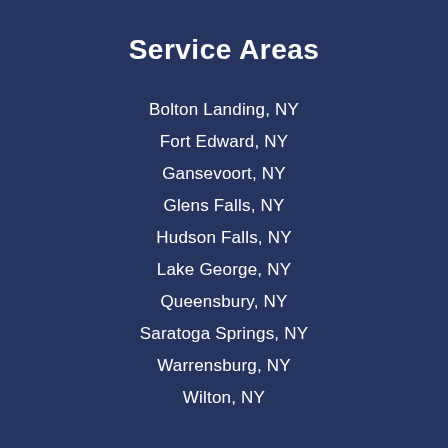Service Areas
Bolton Landing, NY
Fort Edward, NY
Gansevoort, NY
Glens Falls, NY
Hudson Falls, NY
Lake George, NY
Queensbury, NY
Saratoga Springs, NY
Warrensburg, NY
Wilton, NY